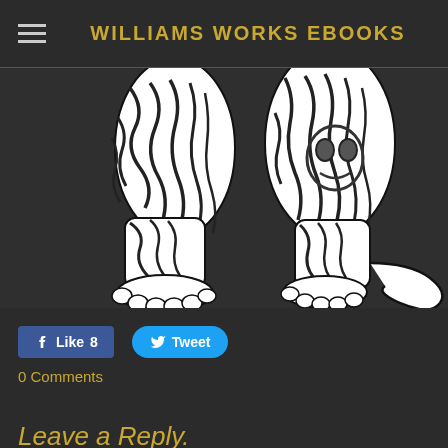WILLIAMS WORKS EBOOKS
[Figure (illustration): Black and white ink illustration of large animal legs (likely a large cat or similar creature) with intricate swirling line patterns. Two sets of legs with clawed paws visible, and a tail curling along the bottom right.]
Like 8
Tweet
0 Comments
Leave a Reply.